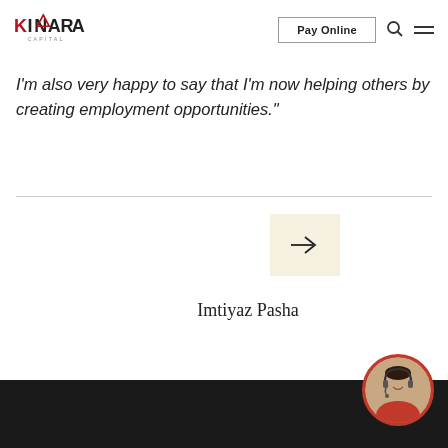[Figure (logo): Kinara Capital logo with red mountain/arrow symbol and text]
Pay Online
I'm also very happy to say that I'm now helping others by creating employment opportunities."
Imtiyaz Pasha
[Figure (illustration): Customer service representative avatar in circular frame with red border]